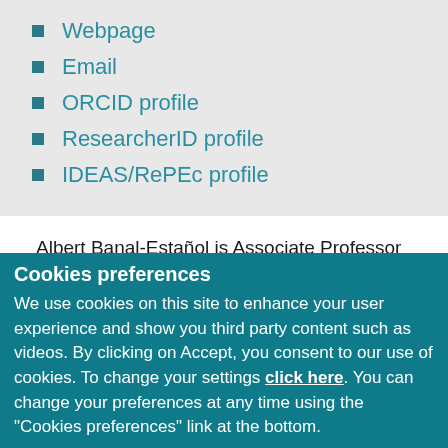Webpage
Email
ORCID profile
ResearcherID profile
IDEAS/RePEc profile
Albert Banal-Estañol is Associate Professor at the Universitat Pompeu Fabra and Affiliated Professor of the Barcelona School of Economics. He is also program director of the MSc in Corporate Finance and Banking at the UPF-Barcelona School of Management, affiliated Reader at City University London, visiting professor at
Cookies preferences
We use cookies on this site to enhance your user experience and show you third party content such as videos. By clicking on Accept, you consent to our use of cookies. To change your settings click here. You can change your preferences at any time using the "Cookies preferences" link at the bottom.